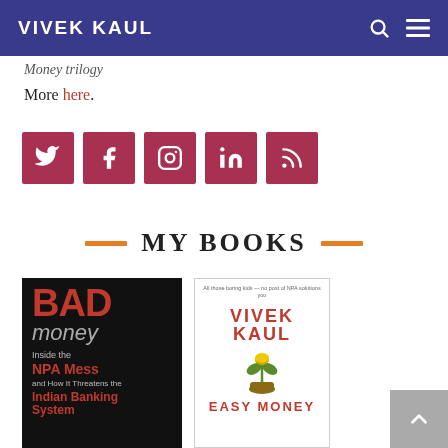VIVEK KAUL
Money trilogy
More here.
[Figure (other): Row of five social media icon buttons (Twitter, Facebook, Instagram, LinkedIn, RSS) in dark red/maroon square buttons]
MY BOOKS
[Figure (photo): Book cover: BAD money - Inside the NPA Mess and How It Threatens the Indian Banking System]
[Figure (photo): Book cover: Easy Money by Vivek Kaul]